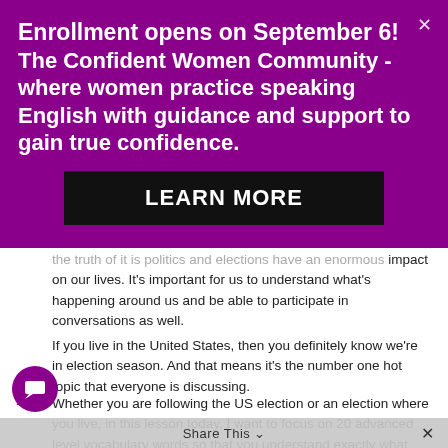[Figure (screenshot): Purple promotional banner for 'The Confident Women Community' with enrollment announcement and a 'LEARN MORE' button, plus a close X in top right corner.]
the truth of it is politics and elections have an enormous impact on our lives. It's important for us to understand what's happening around us and be able to participate in conversations as well.
If you live in the United States, then you definitely know we're in election season. And that means it's the number one hot topic that everyone is discussing.
Whether you are following the US election or an election where you live, in this lesson today, I want to focus on 20 advanced level vocabulary words so that you understand exactly what you're reading or hearing in the news. And you
Share  This